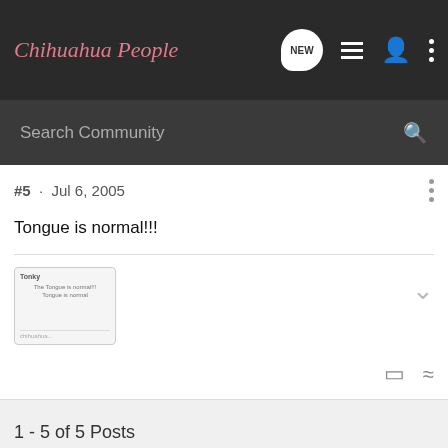Chihuahua People
Search Community
#5 · Jul 6, 2005
Tongue is normal!!!
[Figure (screenshot): Thumbnail preview of a forum post with title and body text]
1 - 5 of 5 Posts